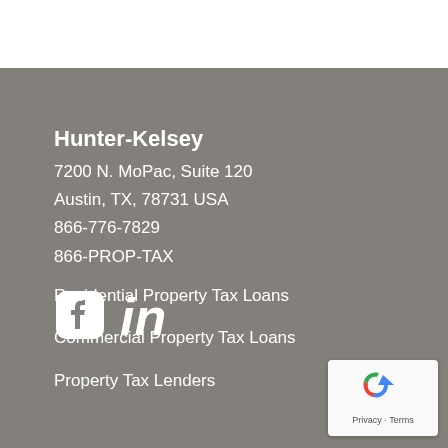Hunter-Kelsey
7200 N. MoPac, Suite 120
Austin, TX, 78731 USA
866-776-7829
866-PROP-TAX
[Figure (logo): Facebook and LinkedIn social media icons in white]
Residential Property Tax Loans
Commercial Property Tax Loans
Property Tax Lenders
[Figure (logo): reCAPTCHA badge with Privacy and Terms text]